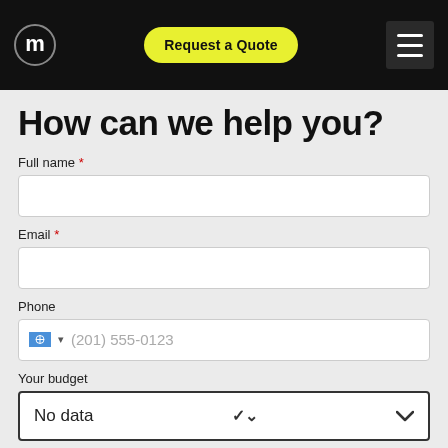Request a Quote
How can we help you?
Full name *
Email *
Phone
(201) 555-0123
Your budget
No data
Tell us about your project